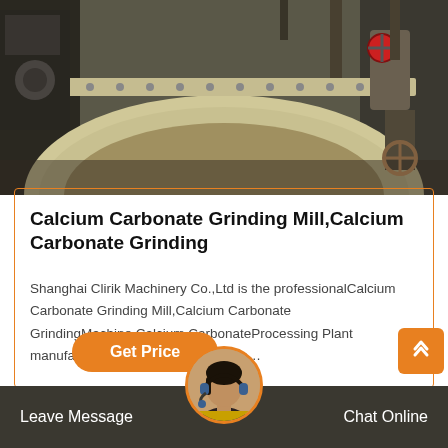[Figure (photo): Industrial calcium carbonate grinding mill machinery — large circular/arc shaped equipment in a factory setting, beige/cream colored heavy machinery]
Calcium Carbonate Grinding Mill,Calcium Carbonate Grinding
Shanghai Clirik Machinery Co.,Ltd is the professionalCalcium Carbonate Grinding Mill,Calcium Carbonate GrindingMachine,Calcium CarbonateProcessing Plant manufacturer, devoted to thecalcium…
Get Price
Leave Message  Chat Online